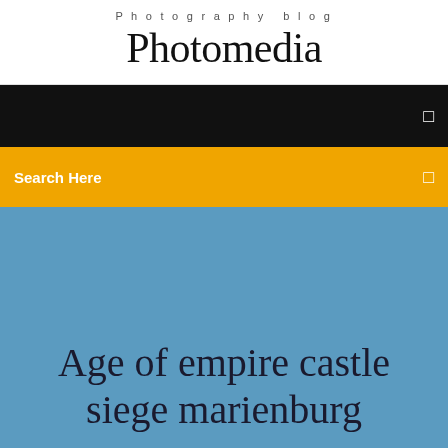Photography blog
Photomedia
[Figure (screenshot): Black navigation bar with a small white icon on the right]
Search Here
Age of empire castle siege marienburg